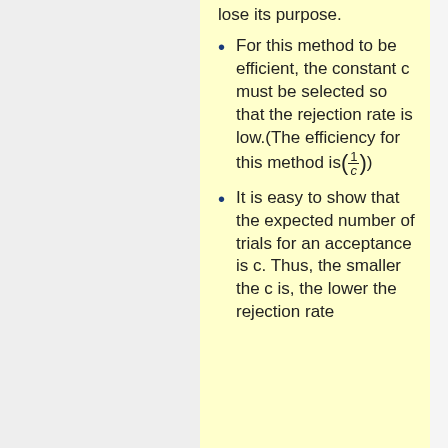lose its purpose.
For this method to be efficient, the constant c must be selected so that the rejection rate is low.(The efficiency for this method is (1/c))
It is easy to show that the expected number of trials for an acceptance is c. Thus, the smaller the c is, the lower the rejection rate